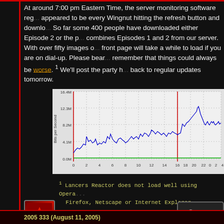At around 7:00 pm Eastern Time, the server monitoring software reg... appeared to be every Wingnut hitting the refresh button and downlo... So far some 400 people have downloaded either Episode 2 or the p... combines Episodes 1 and 2 from our server. With over fifty images ... front page will take a while to load if you are on dial-up. Please bear... remember that things could always be worse. 1 We'll post the party ... back to regular updates tomorrow.
[Figure (continuous-plot): Network traffic chart showing Bits per Second over time (0-4 on x-axis after midnight), with y-axis labels 0.0M, 4.1M, 8.2M, 12.3M, 16.4M. Blue line shows traffic spikes around hour 19-20 reaching ~16M bits/sec. Red vertical lines mark midnight boundaries. Green baseline near 0.]
1 Lancers Reactor does not load well using Opera, Firefox, Netscape or Internet Explorer.
KrisV